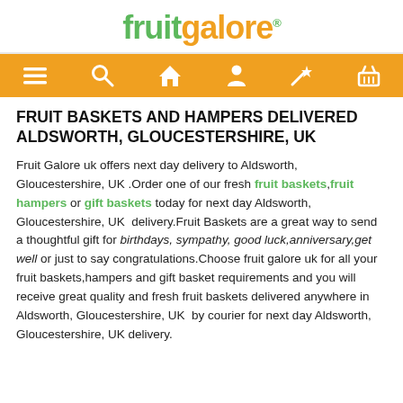fruitgalore®
[Figure (other): Orange navigation bar with hamburger menu, search, home, user, magic wand, and basket icons in white]
FRUIT BASKETS AND HAMPERS DELIVERED ALDSWORTH, GLOUCESTERSHIRE, UK
Fruit Galore uk offers next day delivery to Aldsworth, Gloucestershire, UK .Order one of our fresh fruit baskets,fruit hampers or gift baskets today for next day Aldsworth, Gloucestershire, UK delivery.Fruit Baskets are a great way to send a thoughtful gift for birthdays, sympathy, good luck,anniversary,get well or just to say congratulations.Choose fruit galore uk for all your fruit baskets,hampers and gift basket requirements and you will receive great quality and fresh fruit baskets delivered anywhere in Aldsworth, Gloucestershire, UK by courier for next day Aldsworth, Gloucestershire, UK delivery.